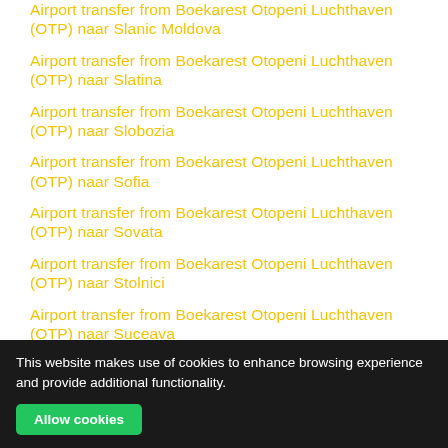Airport transfer from Boekarest Otopeni Luchthaven (OTP) naar Slanic Moldova
Airport transfer from Boekarest Otopeni Luchthaven (OTP) naar Slatina
Airport transfer from Boekarest Otopeni Luchthaven (OTP) naar Slobozia
Airport transfer from Boekarest Otopeni Luchthaven (OTP) naar Sofia
Airport transfer from Boekarest Otopeni Luchthaven (OTP) naar Sovata
Airport transfer from Boekarest Otopeni Luchthaven (OTP) naar Stolnici
Airport transfer from Boekarest Otopeni Luchthaven (OTP) naar Suceava
This website makes use of cookies to enhance browsing experience and provide additional functionality.
Allow cookies